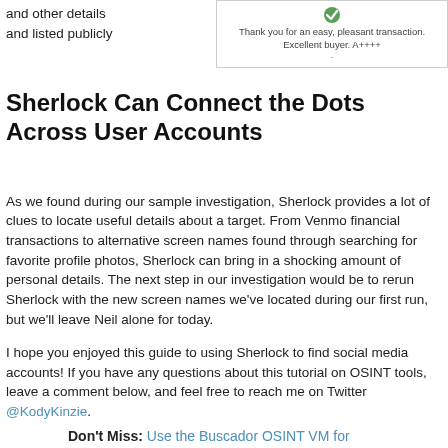and other details and listed publicly
[Figure (screenshot): Partial screenshot of a review or feedback box with text: 'Thank you for an easy, pleasant transaction. Excellent buyer. A++++' and a small green checkmark icon.]
Sherlock Can Connect the Dots Across User Accounts
As we found during our sample investigation, Sherlock provides a lot of clues to locate useful details about a target. From Venmo financial transactions to alternative screen names found through searching for favorite profile photos, Sherlock can bring in a shocking amount of personal details. The next step in our investigation would be to rerun Sherlock with the new screen names we've located during our first run, but we'll leave Neil alone for today.
I hope you enjoyed this guide to using Sherlock to find social media accounts! If you have any questions about this tutorial on OSINT tools, leave a comment below, and feel free to reach me on Twitter @KodyKinzie.
Don't Miss: Use the Buscador OSINT VM for